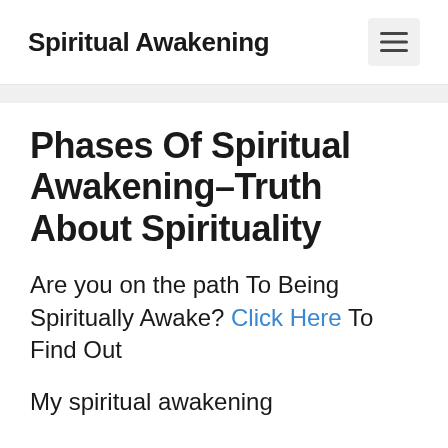Spiritual Awakening
Phases Of Spiritual Awakening–Truth About Spirituality
Are you on the path To Being Spiritually Awake? Click Here To Find Out
My spiritual awakening